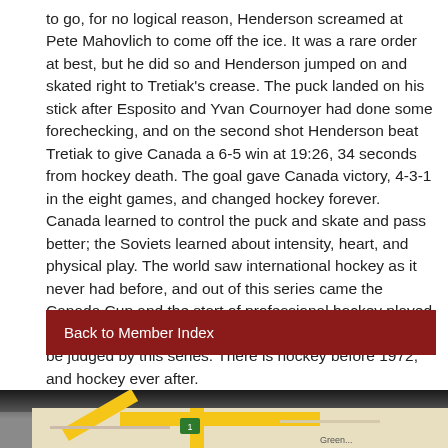to go, for no logical reason, Henderson screamed at Pete Mahovlich to come off the ice. It was a rare order at best, but he did so and Henderson jumped on and skated right to Tretiak's crease. The puck landed on his stick after Esposito and Yvan Cournoyer had done some forechecking, and on the second shot Henderson beat Tretiak to give Canada a 6-5 win at 19:26, 34 seconds from hockey death. The goal gave Canada victory, 4-3-1 in the eight games, and changed hockey forever. Canada learned to control the puck and skate and pass better; the Soviets learned about intensity, heart, and physical play. The world saw international hockey as it never had before, and out of this series came the Canada Cup and the start of professional hockey played between nations. Indeed, all of international hockey can be judged by this series. There is hockey before 1972, and hockey ever after.
Back to Member Index
[Figure (map): Partial view of a map showing roads and intersections, partially visible at the bottom of the page]